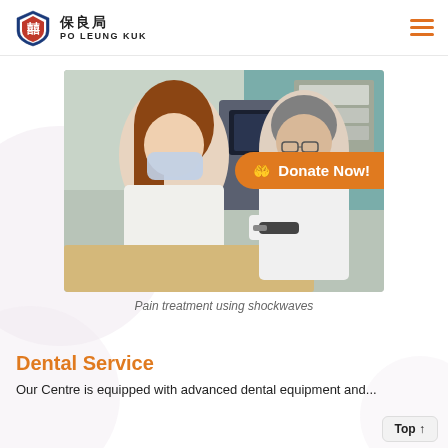保良局 Po Leung Kuk
[Figure (photo): A patient wearing a mask sitting while a doctor in white coat performs pain treatment using a shockwave device on her arm, in a clinical setting with medical equipment in the background. An orange 'Donate Now!' button overlay is visible at the right side of the image.]
Pain treatment using shockwaves
Dental Service
Our Centre is equipped with advanced dental equipment and...